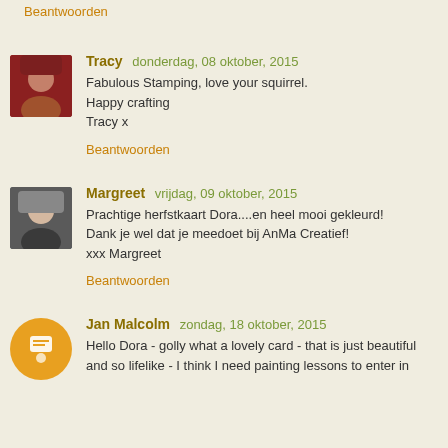Beantwoorden
Tracy donderdag, 08 oktober, 2015
Fabulous Stamping, love your squirrel.
Happy crafting
Tracy x
Beantwoorden
Margreet vrijdag, 09 oktober, 2015
Prachtige herfstkaart Dora....en heel mooi gekleurd!
Dank je wel dat je meedoet bij AnMa Creatief!
xxx Margreet
Beantwoorden
Jan Malcolm zondag, 18 oktober, 2015
Hello Dora - golly what a lovely card - that is just beautiful and so lifelike - I think I need painting lessons to enter in